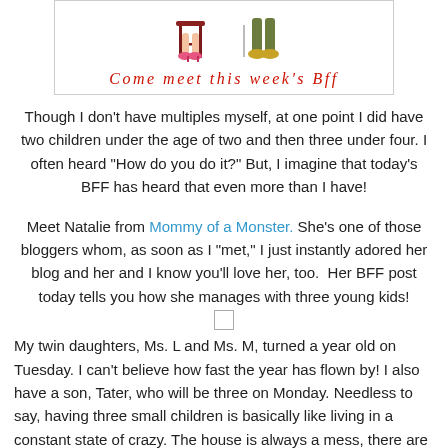[Figure (illustration): Banner image showing cartoon legs (girl with pink heels on a stool, and person in gold shoes) with red cursive text 'Come meet this week's Bff']
Though I don't have multiples myself, at one point I did have two children under the age of two and then three under four. I often heard "How do you do it?" But, I imagine that today's BFF has heard that even more than I have!
Meet Natalie from Mommy of a Monster. She's one of those bloggers whom, as soon as I "met," I just instantly adored her blog and her and I know you'll love her, too.  Her BFF post today tells you how she manages with three young kids!
My twin daughters, Ms. L and Ms. M, turned a year old on Tuesday. I can't believe how fast the year has flown by! I also have a son, Tater, who will be three on Monday. Needless to say, having three small children is basically like living in a constant state of crazy. The house is always a mess, there are toys EVERYWHERE, there's a lot of crying, tantrum